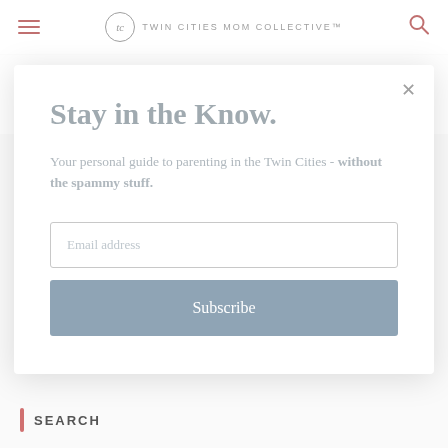TWIN CITIES MOM COLLECTIVE
Twin Cities Guide to Fall Festivals
Stay in the Know.
Your personal guide to parenting in the Twin Cities - without the spammy stuff.
Email address
Subscribe
SEARCH